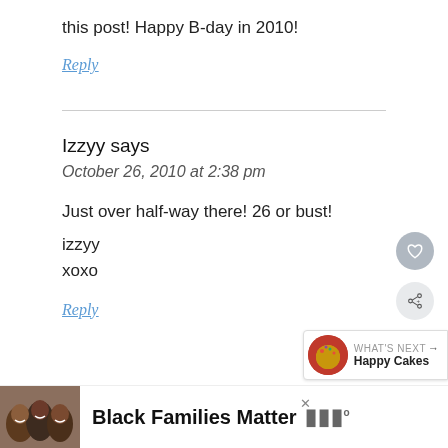this post! Happy B-day in 2010!
Reply
Izzyy says
October 26, 2010 at 2:38 pm
Just over half-way there! 26 or bust!
izzyy
xoxo
Reply
[Figure (infographic): What's Next widget showing Happy Cakes with a circular food image]
[Figure (infographic): Ad bar showing Black Families Matter with group photo on left and logo on right]